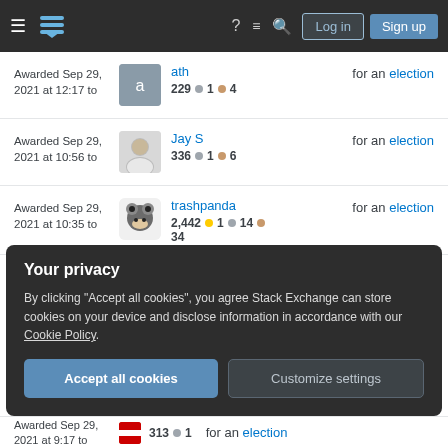Stack Exchange navigation bar with Log in and Sign up buttons
Awarded Sep 29, 2021 at 12:17 to ath 229 ●1 ●4 for an election
Awarded Sep 29, 2021 at 10:56 to Jay S 336 ●1 ●6 for an election
Awarded Sep 29, 2021 at 10:35 to trashpanda 2,442 ●1 ●14 ●34 for an election
Your privacy
By clicking "Accept all cookies", you agree Stack Exchange can store cookies on your device and disclose information in accordance with our Cookie Policy.
Accept all cookies  Customize settings
Awarded Sep 29, 2021 at 9:17 to 313 ●1 for an election